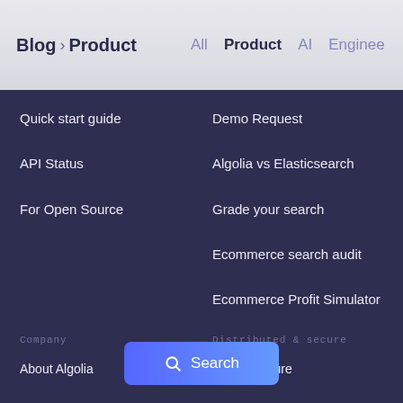Blog > Product   All  Product  AI  Enginee
Quick start guide
API Status
For Open Source
Demo Request
Algolia vs Elasticsearch
Grade your search
Ecommerce search audit
Ecommerce Profit Simulator
Covid center
Company
Distributed & secure
About Algolia
l infrastructure